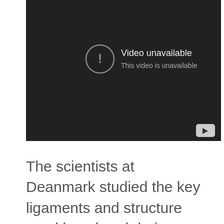[Figure (screenshot): Embedded video player showing 'Video unavailable / This video is unavailable' error message on a dark background with YouTube logo button in bottom-right corner]
The scientists at Deanmark studied the key ligaments and structure used by a hand during mouse usage. As a result they produced a new type of mouse